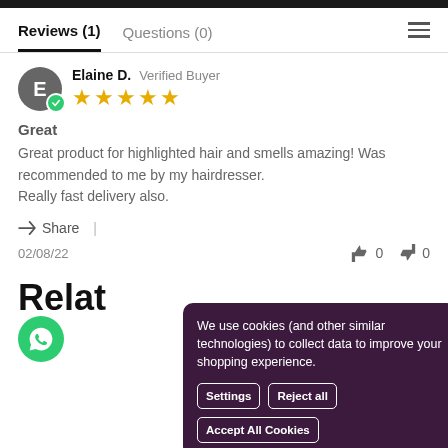Reviews (1)   Questions (0)
Elaine D.  Verified Buyer  ★★★★★
Great
Great product for highlighted hair and smells amazing! Was recommended to me by my hairdresser.
Really fast delivery also.
Share
02/08/22   👍 0   👎 0
Relat
We use cookies (and other similar technologies) to collect data to improve your shopping experience.
Settings  Reject all  Accept All Cookies